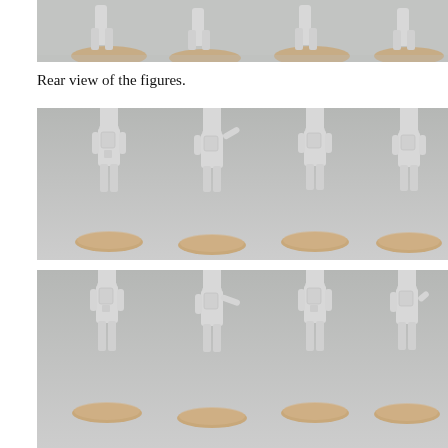[Figure (photo): Top portion of a photo showing four grey unpainted miniature soldier figures from the front, each on a sandy/rocky round base, viewed from above at an angle. Grey background.]
Rear view of the figures.
[Figure (photo): Photo showing four grey unpainted miniature soldier figures from the rear, each wearing tall hats and carrying equipment/backpacks, standing on sandy round bases. Grey background.]
[Figure (photo): Photo showing four more grey unpainted miniature soldier figures from the rear, similar style with tall hats and equipment, on sandy round bases. Grey background. Partially cropped at bottom.]